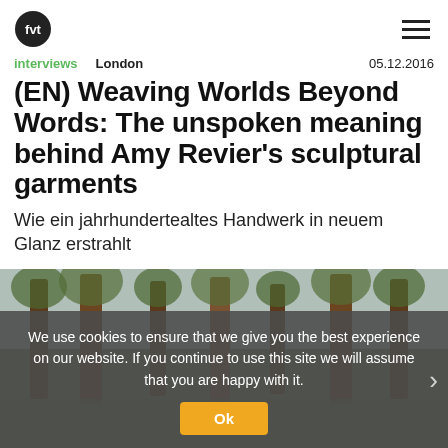fvt logo and hamburger menu
interviews   London   05.12.2016
(EN) Weaving Worlds Beyond Words: The unspoken meaning behind Amy Revier's sculptural garments
Wie ein jahrhundertealtes Handwerk in neuem Glanz erstrahlt
[Figure (photo): Forest scene with tall trees, overcast sky, used as article header image]
We use cookies to ensure that we give you the best experience on our website. If you continue to use this site we will assume that you are happy with it.